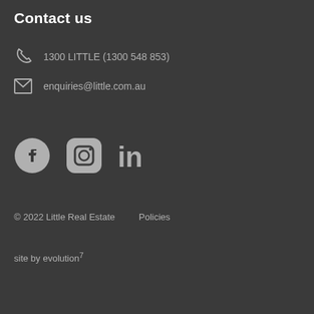Contact us
1300 LITTLE (1300 548 853)
enquiries@little.com.au
[Figure (illustration): Social media icons: Facebook, Instagram, LinkedIn]
© 2022 Little Real Estate    Policies
site by evolution7